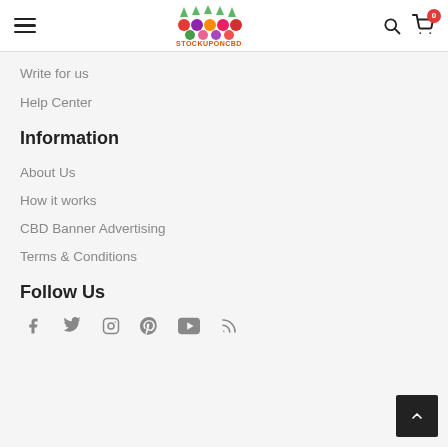StockUpOnCBD — navigation header with hamburger menu, logo, search icon, and cart icon (badge: 0)
Write for us
Help Center
Information
About Us
How it works
CBD Banner Advertising
Terms & Conditions
Follow Us
[Figure (infographic): Social media icons: Facebook, Twitter, Instagram, Pinterest, YouTube, RSS]